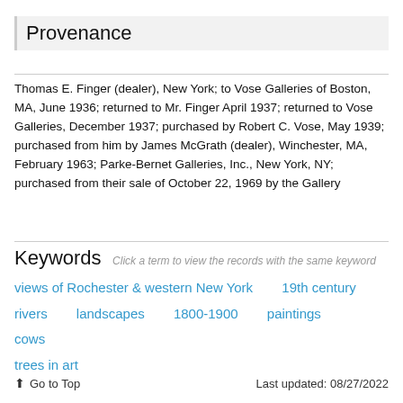Provenance
Thomas E. Finger (dealer), New York; to Vose Galleries of Boston, MA, June 1936; returned to Mr. Finger April 1937; returned to Vose Galleries, December 1937; purchased by Robert C. Vose, May 1939; purchased from him by James McGrath (dealer), Winchester, MA, February 1963; Parke-Bernet Galleries, Inc., New York, NY; purchased from their sale of October 22, 1969 by the Gallery
Keywords  Click a term to view the records with the same keyword
views of Rochester & western New York
19th century
rivers
landscapes
1800-1900
paintings
cows
trees in art
↑ Go to Top    Last updated: 08/27/2022